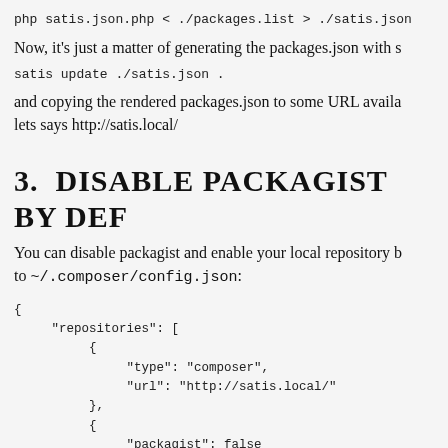php satis.json.php < ./packages.list > ./satis.json
Now, it's just a matter of generating the packages.json with s
satis update ./satis.json .
and copying the rendered packages.json to some URL availa lets says http://satis.local/
3. DISABLE PACKAGIST BY DEF
You can disable packagist and enable your local repository b to ~/.composer/config.json:
{
    "repositories": [
        {
            "type": "composer",
            "url": "http://satis.local/"
        },
        {
            "packagist": false
        }
    ]
}